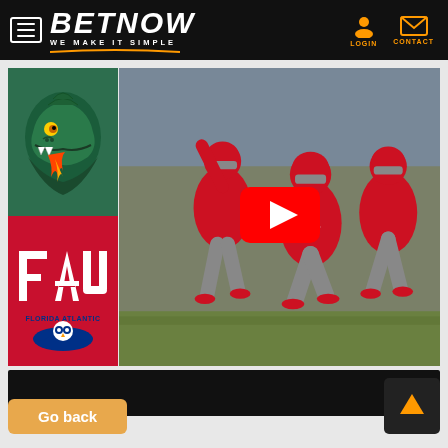[Figure (screenshot): BetNow website header with hamburger menu, BETNOW logo with tagline WE MAKE IT SIMPLE, and orange LOGIN and CONTACT icons on black background]
[Figure (logo): UAB Blazers dragon logo on green background]
[Figure (logo): FAU Florida Atlantic Owls logo on red background]
[Figure (photo): Football action photo showing FAU players in red uniforms celebrating, with YouTube play button overlay]
[Figure (other): Black bar below the media content area]
Go back